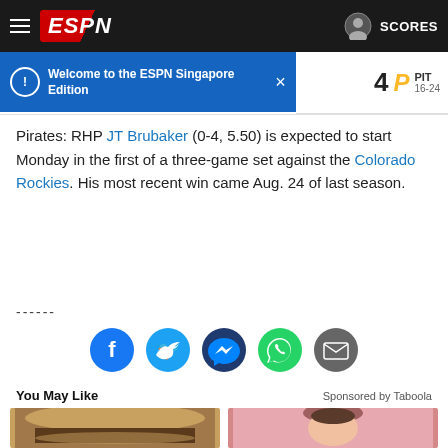ESPN — SCORES
Welcome to the ESPN Singapore Edition
4  PIT 16-24
Pirates: RHP JT Brubaker (0-4, 5.50) is expected to start Monday in the first of a three-game set against the Colorado Rockies. His most recent win came Aug. 24 of last season.
------
[Figure (infographic): Social share buttons: Facebook, Twitter, Messenger, WhatsApp, Email]
You May Like — Sponsored by Taboola
[Figure (photo): Thumbnail of a burger]
[Figure (photo): Thumbnail of a woman with bangs]